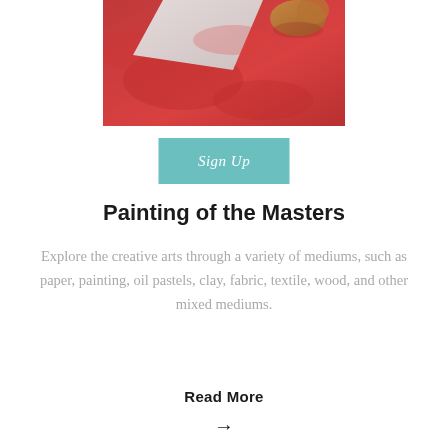[Figure (photo): Close-up photo of a hand touching or working with red fabric or textile material, with a white surface visible, suggesting an arts and crafts activity.]
Sign Up
Painting of the Masters
Explore the creative arts through a variety of mediums, such as paper, painting, oil pastels, clay, fabric, textile, wood, and other mixed mediums.
Read More
→